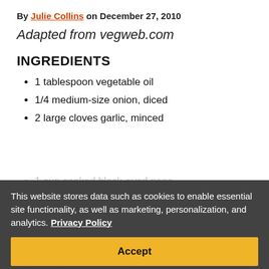By Julie Collins on December 27, 2010
Adapted from vegweb.com
INGREDIENTS
1 tablespoon vegetable oil
1/4 medium-size onion, diced
2 large cloves garlic, minced
1 cup cooked black-eyed peas
1 teaspoon [something]
This website stores data such as cookies to enable essential site functionality, as well as marketing, personalization, and analytics. Privacy Policy
Accept
Deny
Do Ahead—Se... cook the